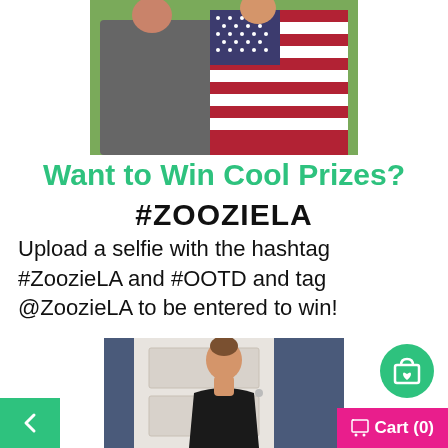[Figure (photo): A couple posing together; woman wearing an American flag patterned top, outdoors with green background.]
Want to Win Cool Prizes?
#ZOOZIELA
Upload a selfie with the hashtag #ZoozieLA and #OOTD and tag @ZoozieLA to be entered to win!
[Figure (photo): A young woman in a black long-sleeve shirt standing in front of a white door.]
[Figure (other): Green circular shopping bag icon with a heart.]
Cart (0)